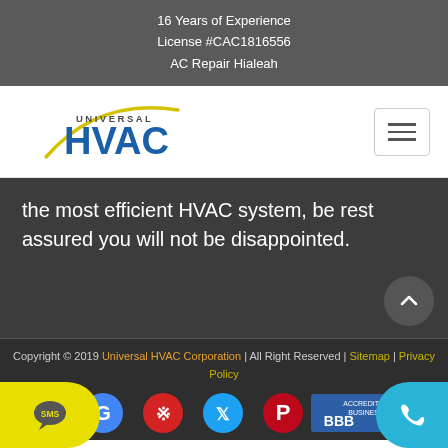16 Years of Experience
License #CAC1816556
AC Repair Hialeah
[Figure (logo): Universal HVAC logo with yellow swoosh and blue HVAC text]
the most efficient HVAC system, be rest assured you will not be disappointed.
Copyright © 2019 Universal HVAC Corporation | All Right Reserved | Sitemap | Privacy Policy
[Figure (infographic): Social media icons: Facebook, Google, Yelp, Twitter, Pinterest, BBB Accredited Business badge]